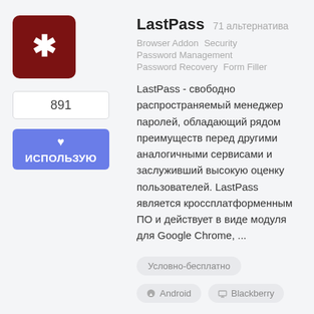[Figure (logo): LastPass logo: dark red/maroon square with white asterisk (*) icon]
891
♥ ИСПОЛЬЗУЮ
LastPass  71 альтернатива
Browser Addon   Security   Password Management   Password Recovery   Form Filler
LastPass - свободно распространяемый менеджер паролей, обладающий рядом преимуществ перед другими аналогичными сервисами и заслуживший высокую оценку пользователей. LastPass является кроссплатформенным ПО и действует в виде модуля для Google Chrome, ...
Условно-бесплатно
Android   Blackberry